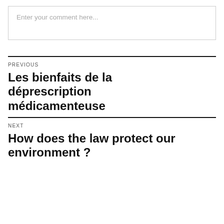Enter your comment here...
PREVIOUS
Les bienfaits de la déprescription médicamenteuse
NEXT
How does the law protect our environment ?